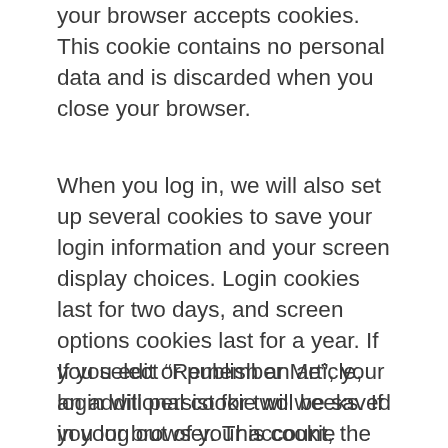your browser accepts cookies. This cookie contains no personal data and is discarded when you close your browser.
When you log in, we will also set up several cookies to save your login information and your screen display choices. Login cookies last for two days, and screen options cookies last for a year. If you select “Remember Me”, your login will persist for two weeks. If you log out of your account, the login cookies will be removed.
If you edit or publish an article, an additional cookie will be saved in your browser. This cookie includes no personal data and simply indicates the post ID of the article you just edited. It expires after 1 day.